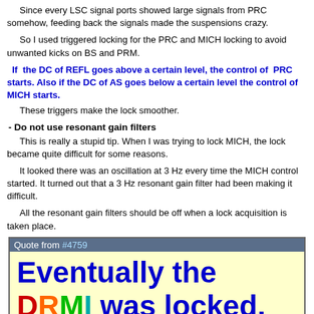Since every LSC signal ports showed large signals from PRC somehow, feeding back the signals made the suspensions crazy.
So I used triggered locking for the PRC and MICH locking to avoid unwanted kicks on BS and PRM.
If the DC of REFL goes above a certain level, the control of PRC starts. Also if the DC of AS goes below a certain level the control of MICH starts.
These triggers make the lock smoother.
- Do not use resonant gain filters
This is really a stupid tip. When I was trying to lock MICH, the lock became quite difficult for some reasons.
It looked there was an oscillation at 3 Hz every time the MICH control started. It turned out that a 3 Hz resonant gain filter had been making it difficult.
All the resonant gain filters should be off when a lock acquisition is taken place.
[Figure (other): Quote box from #4759 with large bold text: 'Eventually the DRMI was locked.' with DRMI letters in red, orange, green, teal colors respectively, followed by bold text 'More details will be reported in the morning.']